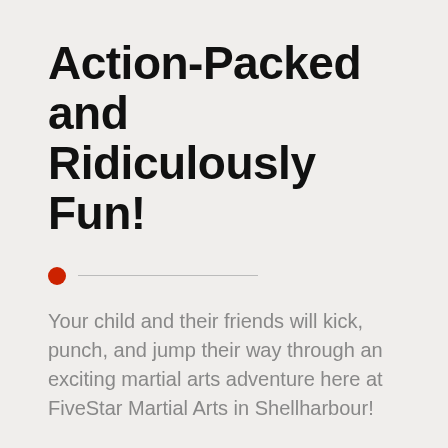Action-Packed and Ridiculously Fun!
Your child and their friends will kick, punch, and jump their way through an exciting martial arts adventure here at FiveStar Martial Arts in Shellharbour!
The best part: Kids need exercise now more than ever! We help them get out all that excess energy in the party! We keep them entertained the whole time, so you can relax!